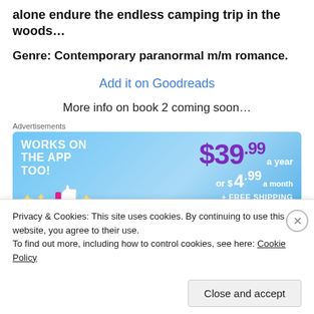alone endure the endless camping trip in the woods…
Genre: Contemporary paranormal m/m romance.
Add it on Goodreads
More info on book 2 coming soon…
Advertisements
[Figure (other): Advertisement banner: 'WORKS ON THE APP TOO!' with price $39.99 a year or $4.99 a month + FREE SHIPPING, blue background with stars and thumbs up icon.]
Privacy & Cookies: This site uses cookies. By continuing to use this website, you agree to their use.
To find out more, including how to control cookies, see here: Cookie Policy
Close and accept